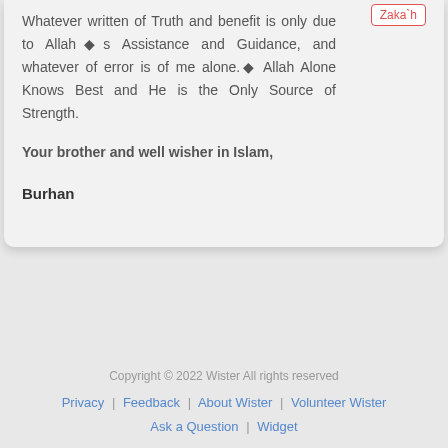Whatever written of Truth and benefit is only due to Allah◆s Assistance and Guidance, and whatever of error is of me alone.◆ Allah Alone Knows Best and He is the Only Source of Strength.
Your brother and well wisher in Islam,
Burhan
Copyright © 2022 Wister All rights reserved
Privacy | Feedback | About Wister | Volunteer Wister | Ask a Question | Widget